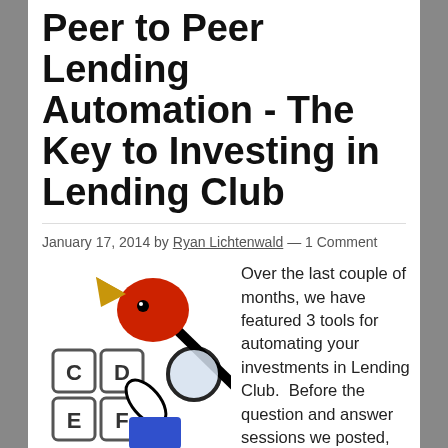Peer to Peer Lending Automation - The Key to Investing in Lending Club
January 17, 2014 by Ryan Lichtenwald — 1 Comment
[Figure (illustration): Cartoon illustration of a key with a red bird-like head, a lock symbol, and letter tiles C, D, E, F suggesting a puzzle or code key concept.]
If only it were this easy...
Over the last couple of months, we have featured 3 tools for automating your investments in Lending Club.  Before the question and answer sessions we posted, my process for my investing was